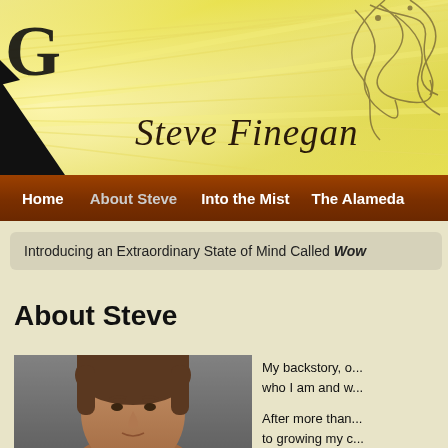[Figure (screenshot): Website header banner with golden ray burst background, dark wedge on left, decorative floral swirl on top right, and site title 'Steve Finegan' in italic serif font]
Steve Finegan
Home | About Steve | Into the Mist | The Alameda
Introducing an Extraordinary State of Mind Called Wow
About Steve
[Figure (photo): Headshot portrait of a man with brown hair against a grey background]
My backstory, originally about who I am and w...
After more than to growing my c... advertising agen...